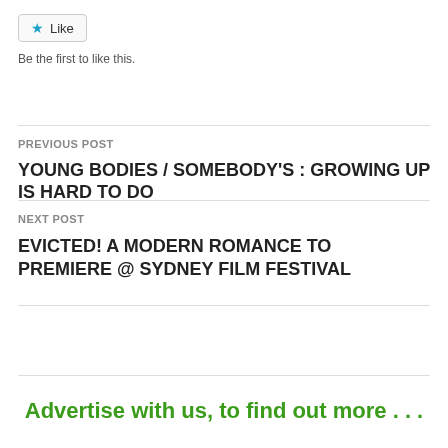[Figure (other): Like button with star icon]
Be the first to like this.
PREVIOUS POST
YOUNG BODIES / SOMEBODY'S : GROWING UP IS HARD TO DO
NEXT POST
EVICTED! A MODERN ROMANCE TO PREMIERE @ SYDNEY FILM FESTIVAL
Advertise with us, to find out more . . .